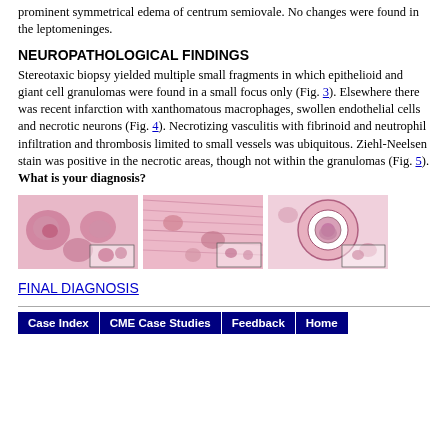prominent symmetrical edema of centrum semiovale. No changes were found in the leptomeninges.
NEUROPATHOLOGICAL FINDINGS
Stereotaxic biopsy yielded multiple small fragments in which epithelioid and giant cell granulomas were found in a small focus only (Fig. 3). Elsewhere there was recent infarction with xanthomatous macrophages, swollen endothelial cells and necrotic neurons (Fig. 4). Necrotizing vasculitis with fibrinoid and neutrophil infiltration and thrombosis limited to small vessels was ubiquitous. Ziehl-Neelsen stain was positive in the necrotic areas, though not within the granulomas (Fig. 5). What is your diagnosis?
[Figure (photo): Three histopathology microscopy images (Figs. 3, 4, 5) showing granulomas, infarction with macrophages, and vasculitis with thrombosis. H&E stained tissue sections in pink and purple.]
FINAL DIAGNOSIS
Case Index | CME Case Studies | Feedback | Home